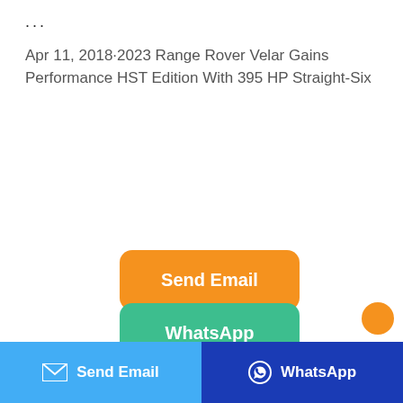…
Apr 11, 2018·2023 Range Rover Velar Gains Performance HST Edition With 395 HP Straight-Six
Send Email
WhatsApp
Send Email  WhatsApp